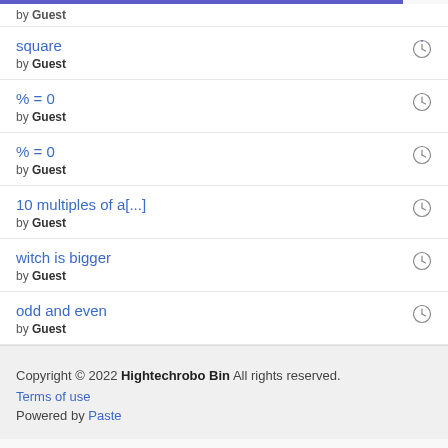by Guest
square
by Guest
% = 0
by Guest
% = 0
by Guest
10 multiples of a[...]
by Guest
witch is bigger
by Guest
odd and even
by Guest
Copyright © 2022 Hightechrobo Bin All rights reserved.
Terms of use
Powered by Paste